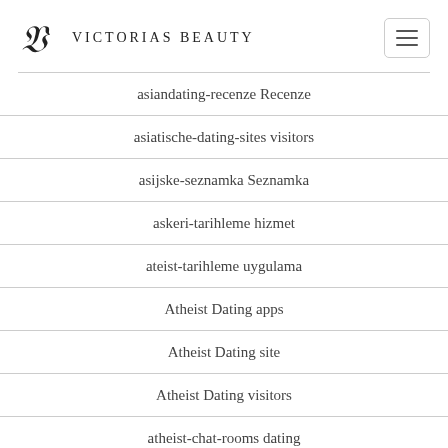Victorias Beauty
asiandating-recenze Recenze
asiatische-dating-sites visitors
asijske-seznamka Seznamka
askeri-tarihleme hizmet
ateist-tarihleme uygulama
Atheist Dating apps
Atheist Dating site
Atheist Dating visitors
atheist-chat-rooms dating